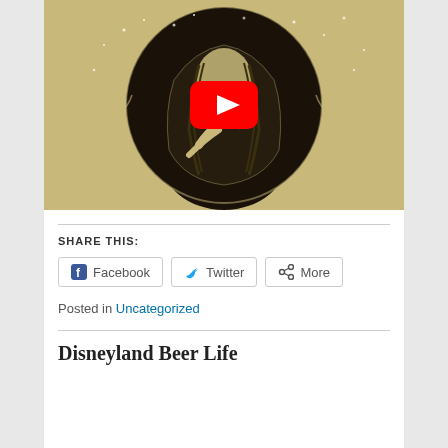[Figure (illustration): A YouTube video thumbnail showing a dark illustration of a cloaked figure (woman with long hair) inside a circular frame with trees and stars, in black and sepia tones. A red YouTube play button overlay is centered on the image.]
SHARE THIS:
Facebook  Twitter  More
Posted in Uncategorized
Disneyland Beer Life